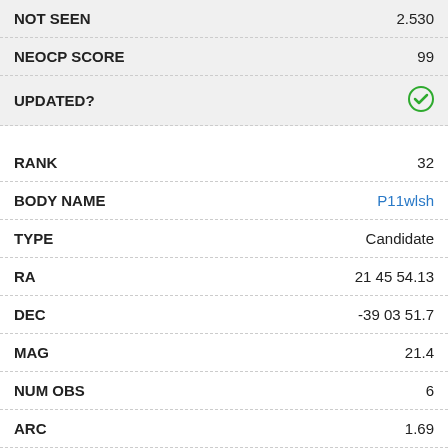| Field | Value |
| --- | --- |
| NOT SEEN | 2.530 |
| NEOCP SCORE | 99 |
| UPDATED? | ✓ |
| RANK | 32 |
| BODY NAME | P11wlsh |
| TYPE | Candidate |
| RA | 21 45 54.13 |
| DEC | -39 03 51.7 |
| MAG | 21.4 |
| NUM OBS | 6 |
| ARC | 1.69 |